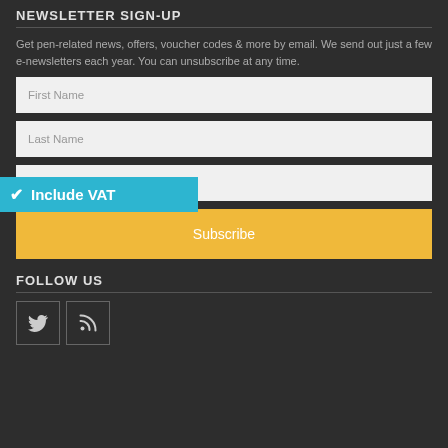NEWSLETTER SIGN-UP
Get pen-related news, offers, voucher codes & more by email. We send out just a few e-newsletters each year. You can unsubscribe at any time.
[Figure (screenshot): First Name input field (light grey background)]
[Figure (screenshot): Last Name input field (light grey background)]
[Figure (infographic): Include VAT badge (cyan/teal background with checkmark)]
[Figure (screenshot): Email Address input field with envelope icon]
[Figure (screenshot): Subscribe button (gold/yellow background)]
FOLLOW US
[Figure (screenshot): Twitter icon button (square with bird icon)]
[Figure (screenshot): RSS feed icon button (square with RSS icon)]